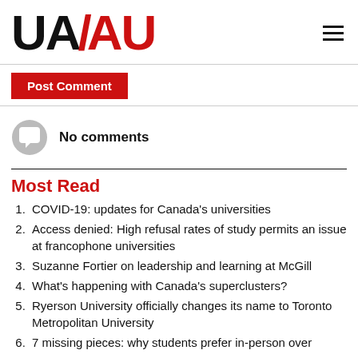[Figure (logo): UA/AU logo — 'UA' in black bold, slash in red, 'AU' in red bold]
Post Comment
No comments
Most Read
COVID-19: updates for Canada's universities
Access denied: High refusal rates of study permits an issue at francophone universities
Suzanne Fortier on leadership and learning at McGill
What's happening with Canada's superclusters?
Ryerson University officially changes its name to Toronto Metropolitan University
7 missing pieces: why students prefer in-person over